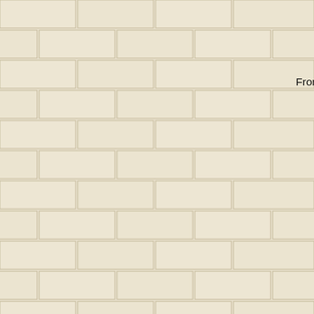This event was s
From this point on, all the pho
[Figure (photo): A person wearing a Sigma Sigma Sigma (ΣΣΣ) white t-shirt with the number 56, running or walking outdoors on grass. Another person is partially visible behind them.]
The Tri-Sigma sisters definitely and various words on the b "GONADS".  At